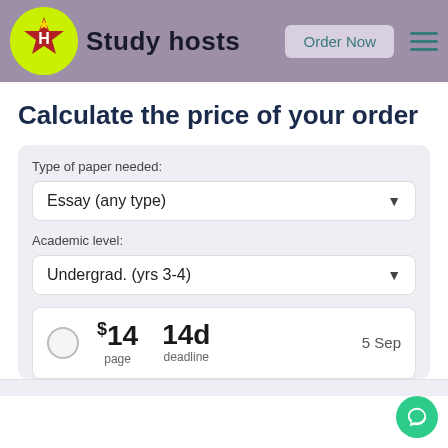[Figure (logo): Study hosts logo with green circle, red star badge with H, and brand name text]
Calculate the price of your order
Type of paper needed:
Essay (any type)
Academic level:
Undergrad. (yrs 3-4)
$14 page  14d deadline  5 Sep